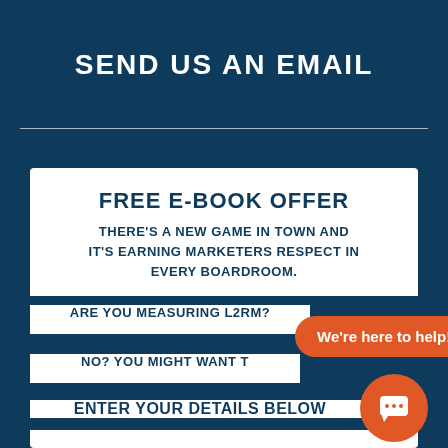SEND US AN EMAIL
FREE E-BOOK OFFER
THERE'S A NEW GAME IN TOWN AND IT'S EARNING MARKETERS RESPECT IN EVERY BOARDROOM.
ARE YOU MEASURING L2RM?
NO? YOU MIGHT WANT T...
ENTER YOUR DETAILS BELOW
[Figure (illustration): Orange chat bubble with text 'We're here to help!' and an orange circular chat icon button]